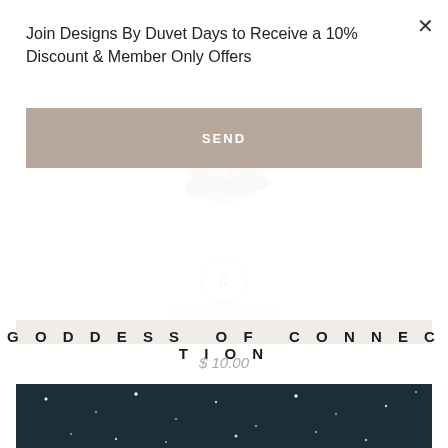Join Designs By Duvet Days to Receive a 10% Discount & Member Only Offers
SEND
[Figure (logo): Designs By Duvet Days brand logo with floral illustration above and circular ampersand logo below, on beige background]
GODDESS OF CONNECTION
$ 10.00
[Figure (illustration): Dark teal/navy starry night sky background section]